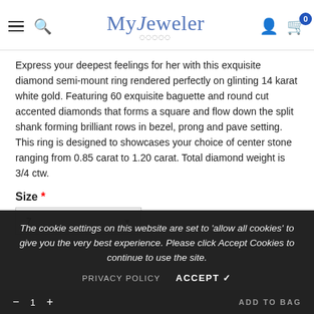MyJeweler
Express your deepest feelings for her with this exquisite diamond semi-mount ring rendered perfectly on glinting 14 karat white gold. Featuring 60 exquisite baguette and round cut accented diamonds that forms a square and flow down the split shank forming brilliant rows in bezel, prong and pave setting. This ring is designed to showcases your choice of center stone ranging from 0.85 carat to 1.20 carat. Total diamond weight is 3/4 ctw.
Size *
7
The cookie settings on this website are set to 'allow all cookies' to give you the very best experience. Please click Accept Cookies to continue to use the site.
PRIVACY POLICY   ACCEPT ✓
ADD TO BAG